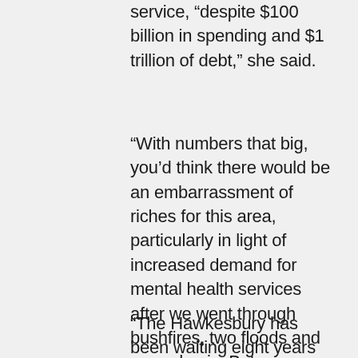service, “despite $100 billion in spending and $1 trillion of debt,” she said.
“With numbers that big, you’d think there would be an embarrassment of riches for this area, particularly in light of increased demand for mental health services after we went through bushfires, two floods and a pandemic. But apparently not,” Ms Templeman said.
“The Hawkesbury has been waiting eight years for the Federal Government to deliver a Headspace, which provides mental health services for people aged 12 to 25 years old and is an easy way to reach out early for youth-focused help